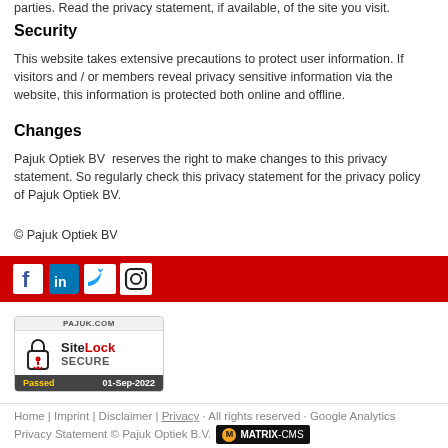parties. Read the privacy statement, if available, of the site you visit.
Security
This website takes extensive precautions to protect user information. If visitors and / or members reveal privacy sensitive information via the website, this information is protected both online and offline.
Changes
Pajuk Optiek BV  reserves the right to make changes to this privacy statement. So regularly check this privacy statement for the privacy policy  of Pajuk Optiek BV.
© Pajuk Optiek BV
[Figure (infographic): Red social media bar with Facebook, LinkedIn, Twitter, and Instagram icons]
[Figure (logo): SiteLock SECURE badge showing PAJUK.COM, lock icon, SiteLock in red, SECURE text, Passed 01-Sep-2022]
Home | Imprint | Disclaimer | Privacy · All rights reserved · Google Analytics Privacy Statement © Pajuk Optiek B.V. MATRIX-CMS